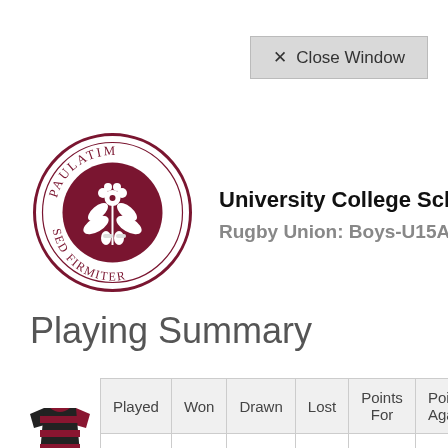✕  Close Window
[Figure (logo): University College School circular crest with Latin motto PAULATIM SED FIRMITER and floral/oak design in dark red/maroon]
University College School
Rugby Union: Boys-U15A
Playing Summary
| Played | Won | Drawn | Lost | Points For | Points Against |
| --- | --- | --- | --- | --- | --- |